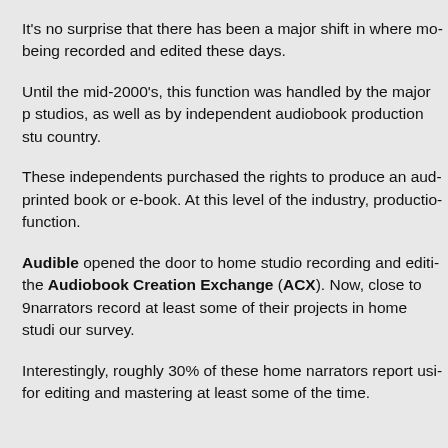It's no surprise that there has been a major shift in where mo- being recorded and edited these days.
Until the mid-2000's, this function was handled by the major p- studios, as well as by independent audiobook production stu- country.
These independents purchased the rights to produce an aud- printed book or e-book. At this level of the industry, productio- function.
Audible opened the door to home studio recording and editi- the Audiobook Creation Exchange (ACX). Now, close to 9- narrators record at least some of their projects in home studi- our survey.
Interestingly, roughly 30% of these home narrators report usi- for editing and mastering at least some of the time.